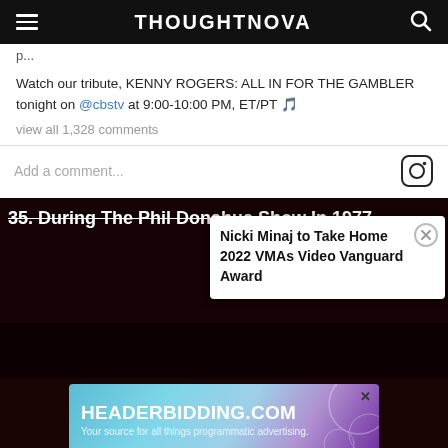THOUGHTNOVA
Watch our tribute, KENNY ROGERS: ALL IN FOR THE GAMBLER tonight on @cbstv at 9:00-10:00 PM, ET/PT 🎵
view all 1,328 comments
Add a comment...
35. During The Phil Donahue Show In 1977
Nicki Minaj to Take Home 2022 VMAs Video Vanguard Award
[Figure (screenshot): Advertisement banner for HEADERBIDDING.COM — Your source for all things programmatic advertising.]